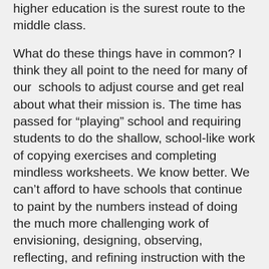higher education is the surest route to the middle class.
What do these things have in common? I think they all point to the need for many of our  schools to adjust course and get real about what their mission is. The time has passed for “playing” school and requiring students to do the shallow, school-like work of copying exercises and completing mindless worksheets. We know better. We can’t afford to have schools that continue to paint by the numbers instead of doing the much more challenging work of envisioning, designing, observing, reflecting, and refining instruction with the integrity and the inherent value of their students in mind.  Most schools are so caught up in what ever race it is they are trying to win that they are rushing past the content of their students’ education and leaving their students bereft of understanding, perspective, and the habits of mind necessary for real world work. It takes very artful prioritizing to get out of that bind. We need school leaders whose first allegiance is to the students that